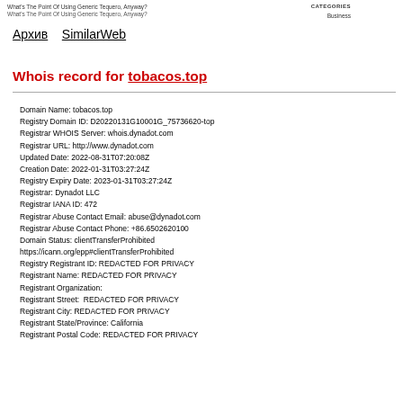What's The Point Of Using Generic Tequero, Anyway?
CATEGORIES
Business
Архив    SimilarWeb
Whois record for tobacos.top
Domain Name: tobacos.top
Registry Domain ID: D20220131G10001G_75736620-top
Registrar WHOIS Server: whois.dynadot.com
Registrar URL: http://www.dynadot.com
Updated Date: 2022-08-31T07:20:08Z
Creation Date: 2022-01-31T03:27:24Z
Registry Expiry Date: 2023-01-31T03:27:24Z
Registrar: Dynadot LLC
Registrar IANA ID: 472
Registrar Abuse Contact Email: abuse@dynadot.com
Registrar Abuse Contact Phone: +86.6502620100
Domain Status: clientTransferProhibited
https://icann.org/epp#clientTransferProhibited
Registry Registrant ID: REDACTED FOR PRIVACY
Registrant Name: REDACTED FOR PRIVACY
Registrant Organization:
Registrant Street:  REDACTED FOR PRIVACY
Registrant City: REDACTED FOR PRIVACY
Registrant State/Province: California
Registrant Postal Code: REDACTED FOR PRIVACY